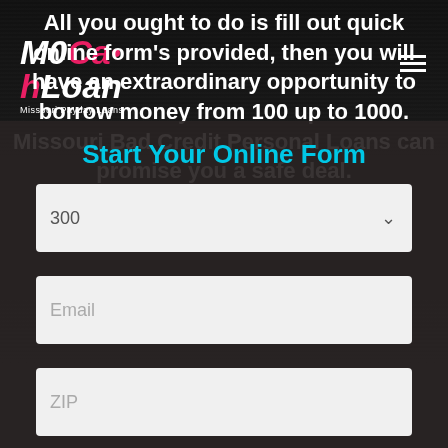[Figure (logo): MoCashLoan - Missouri Payday Loans logo in italic bold font with pink and white coloring]
All you ought to do is fill out quick online form's provided, then you will have an extraordinary opportunity to borrow money from 100 up to 1000. Missouri Bad Credit Personal Loans can promise you a safe deal.
Start Your Online Form
300
Email
ZIP